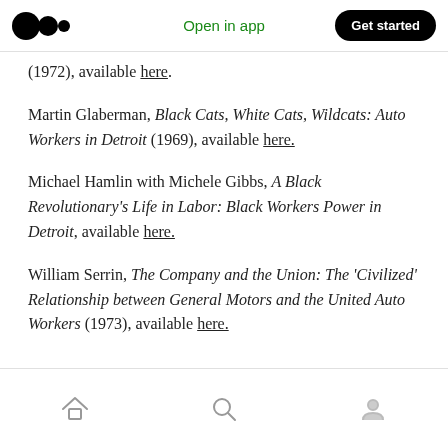Medium logo | Open in app | Get started
(1972), available here.
Martin Glaberman, Black Cats, White Cats, Wildcats: Auto Workers in Detroit (1969), available here.
Michael Hamlin with Michele Gibbs, A Black Revolutionary's Life in Labor: Black Workers Power in Detroit, available here.
William Serrin, The Company and the Union: The 'Civilized' Relationship between General Motors and the United Auto Workers (1973), available here.
Home | Search | Profile